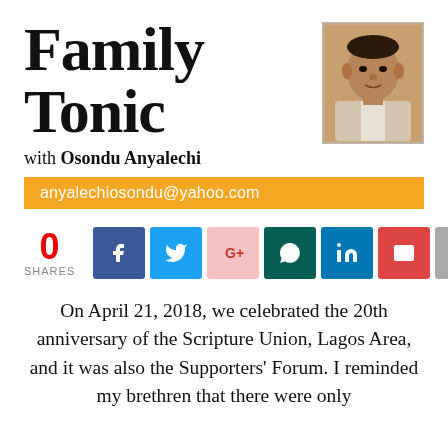Family Tonic
with Osondu Anyalechi
[Figure (photo): Headshot photo of Osondu Anyalechi, an older African man in a suit]
anyalechiosondu@yahoo.com
0 SHARES
[Figure (infographic): Social sharing buttons: Facebook, Twitter, Google+, WhatsApp, LinkedIn, Email, Forward]
On April 21, 2018, we celebrated the 20th anniversary of the Scripture Union, Lagos Area, and it was also the Supporters' Forum. I reminded my brethren that there were only